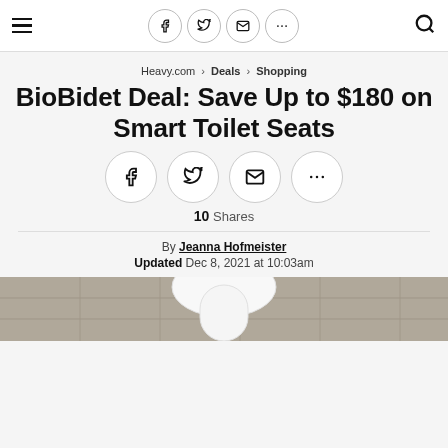Heavy.com — Navigation bar with hamburger menu, social share icons (Facebook, Twitter, Email, More), and search icon
Heavy.com › Deals › Shopping
BioBidet Deal: Save Up to $180 on Smart Toilet Seats
10 Shares
By Jeanna Hofmeister
Updated Dec 8, 2021 at 10:03am
[Figure (photo): Bottom portion of a white toilet seat/bidet against a tiled bathroom wall background]